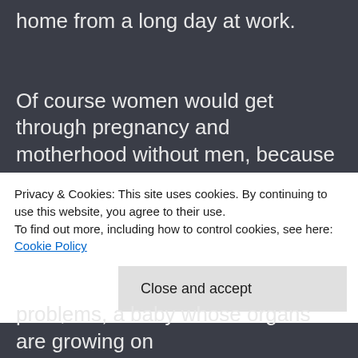home from a long day at work.
Of course women would get through pregnancy and motherhood without men, because we are amazing. But having a supportive, patient, helpful, loving man in your life sure helps. Pregnancy and motherhood is an emotional rollercoaster, to say the least, for
Privacy & Cookies: This site uses cookies. By continuing to use this website, you agree to their use.
To find out more, including how to control cookies, see here: Cookie Policy
Close and accept
problems, a baby whose organs are growing on